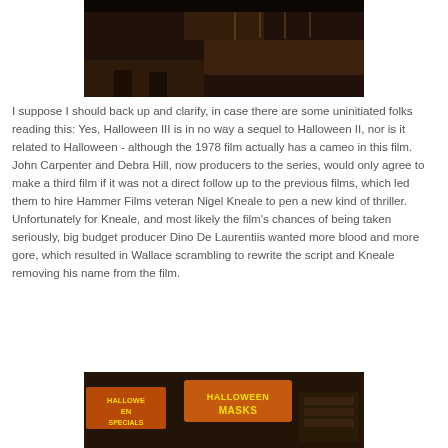[Figure (photo): Dark interior shot of a bar or restaurant with dim lighting, wooden furniture and counters visible in background.]
I suppose I should back up and clarify, in case there are some uninitiated folks reading this: Yes, Halloween III is in no way a sequel to Halloween II, nor is it related to Halloween - although the 1978 film actually has a cameo in this film. John Carpenter and Debra Hill, now producers to the series, would only agree to make a third film if it was not a direct follow up to the previous films, which led them to hire Hammer Films veteran Nigel Kneale to pen a new kind of thriller. Unfortunately for Kneale, and most likely the film's chances of being taken seriously, big budget producer Dino De Laurentiis wanted more blood and more gore, which resulted in Wallace scrambling to rewrite the script and Kneale removing his name from the film.
[Figure (photo): Store display with Halloween masks and signs reading 'HALLOWEEN MASKS' and 'HALLOWEEN SPECIALS' in orange and yellow text on dark background.]